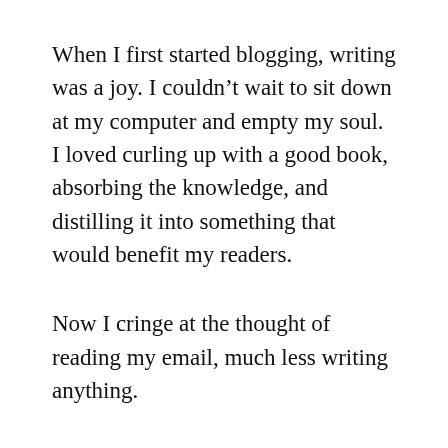When I first started blogging, writing was a joy. I couldn’t wait to sit down at my computer and empty my soul. I loved curling up with a good book, absorbing the knowledge, and distilling it into something that would benefit my readers.
Now I cringe at the thought of reading my email, much less writing anything.
I almost shut this website down, erased it. I thought that my lack of desire was due to the fact that this had ran its course.
Now I’ve realized that there’s nothing wrong with this website. I’m just burned out.